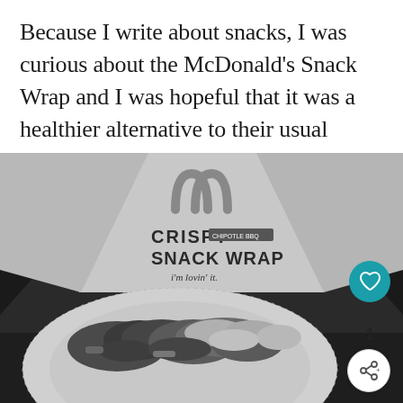Because I write about snacks, I was curious about the McDonald's Snack Wrap and I was hopeful that it was a healthier alternative to their usual menu.
[Figure (photo): Black and white photo of an open McDonald's Crispy Snack Wrap, showing the wrapper with the McDonald's arches logo, 'CRISPY SNACK WRAP' text, and 'i'm lovin' it' tagline. The wrap is open showing the food contents inside a tortilla. UI elements visible: a teal heart/like button, a count showing '1', and a share button.]